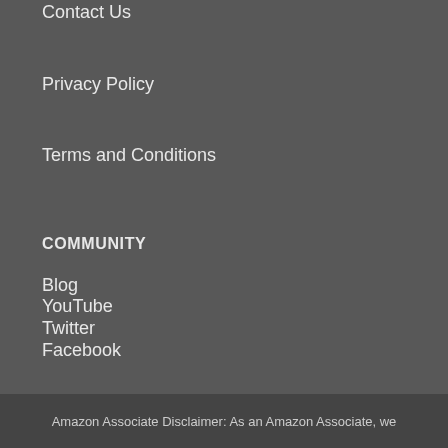Contact Us
Privacy Policy
Terms and Conditions
COMMUNITY
Blog
YouTube
Twitter
Facebook
Amazon Associate Disclaimer: As an Amazon Associate, we